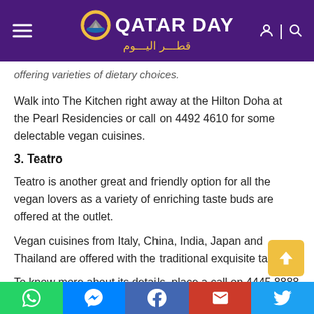[Figure (logo): Qatar Day logo with purple header, hamburger menu, circular emblem, 'QATAR DAY' text in white, Arabic text in gold, user and search icons]
offering varieties of dietary choices.
Walk into The Kitchen right away at the Hilton Doha at the Pearl Residencies or call on 4492 4610 for some delectable vegan cuisines.
3. Teatro
Teatro is another great and friendly option for all the vegan lovers as a variety of enriching taste buds are offered at the outlet.
Vegan cuisines from Italy, China, India, Japan and Thailand are offered with the traditional exquisite tastes.
To know more about its details, place a call on 4445 8888